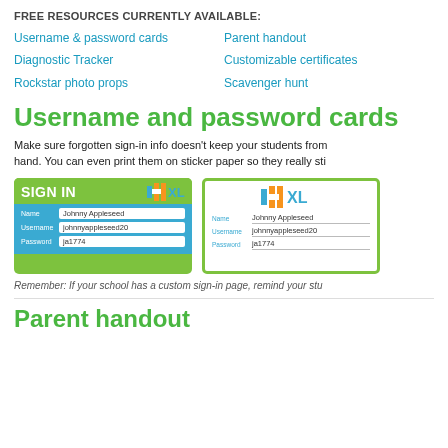FREE RESOURCES CURRENTLY AVAILABLE:
Username & password cards
Parent handout
Diagnostic Tracker
Customizable certificates
Rockstar photo props
Scavenger hunt
Username and password cards
Make sure forgotten sign-in info doesn't keep your students from hand. You can even print them on sticker paper so they really sti
[Figure (illustration): Two IXL sign-in cards: one green card with blue body showing Name: Johnny Appleseed, Username: johnnyappleseed20, Password: ja1774; one white card with green border showing the same info]
Remember: If your school has a custom sign-in page, remind your stu
Parent handout